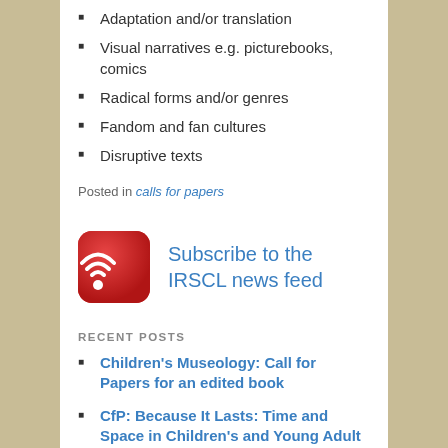Adaptation and/or translation
Visual narratives e.g. picturebooks, comics
Radical forms and/or genres
Fandom and fan cultures
Disruptive texts
Posted in calls for papers
[Figure (logo): Red RSS feed icon with white wifi signal bars and a red dot at the bottom, rounded square shape]
Subscribe to the IRSCL news feed
RECENT POSTS
Children's Museology: Call for Papers for an edited book
CfP: Because It Lasts: Time and Space in Children's and Young Adult Literature and Media
CFP: Motherhood and Mothering in Children's and Young Adult Literature